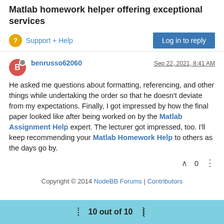Matlab homework helper offering exceptional services
Support + Help
benrusso62060   Sep 22, 2021, 8:41 AM
He asked me questions about formatting, referencing, and other things while undertaking the order so that he doesn't deviate from my expectations. Finally, I got impressed by how the final paper looked like after being worked on by the Matlab Assignment Help expert. The lecturer got impressed, too. I'll keep recommending your Matlab Homework Help to others as the days go by.
Copyright © 2014 NodeBB Forums | Contributors
10 out of 10